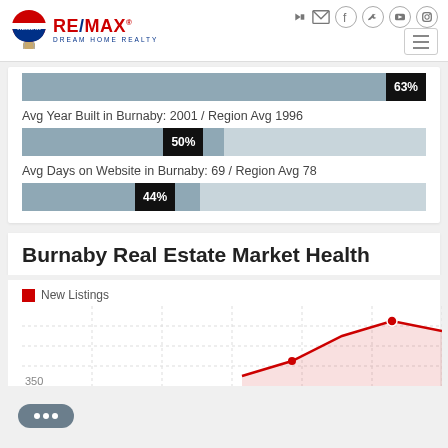[Figure (logo): RE/MAX Dream Home Realty logo with balloon]
Avg Year Built in Burnaby: 2001 / Region Avg 1996
[Figure (bar-chart): 63% bar]
[Figure (bar-chart): 50% bar]
Avg Days on Website in Burnaby: 69 / Region Avg 78
[Figure (bar-chart): 44% bar]
Burnaby Real Estate Market Health
[Figure (line-chart): New Listings line chart for Burnaby Real Estate Market Health, partial view showing red line with upward trend, y-axis starting at 350]